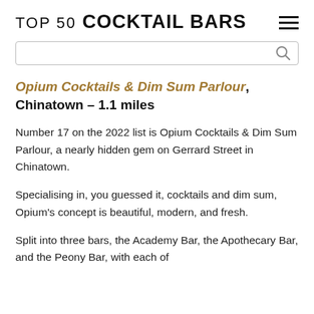TOP 50 COCKTAIL BARS
Opium Cocktails & Dim Sum Parlour, Chinatown – 1.1 miles
Number 17 on the 2022 list is Opium Cocktails & Dim Sum Parlour, a nearly hidden gem on Gerrard Street in Chinatown.
Specialising in, you guessed it, cocktails and dim sum, Opium's concept is beautiful, modern, and fresh.
Split into three bars, the Academy Bar, the Apothecary Bar, and the Peony Bar, with each of